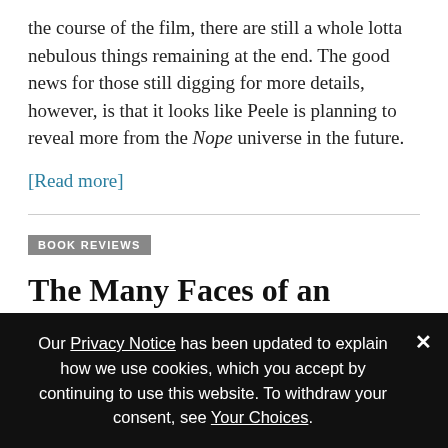the course of the film, there are still a whole lotta nebulous things remaining at the end. The good news for those still digging for more details, however, is that it looks like Peele is planning to reveal more from the Nope universe in the future.
[Read more]
BOOK REVIEWS
The Many Faces of an Apocalypse: Alan Heathcock's 40
Our Privacy Notice has been updated to explain how we use cookies, which you accept by continuing to use this website. To withdraw your consent, see Your Choices.